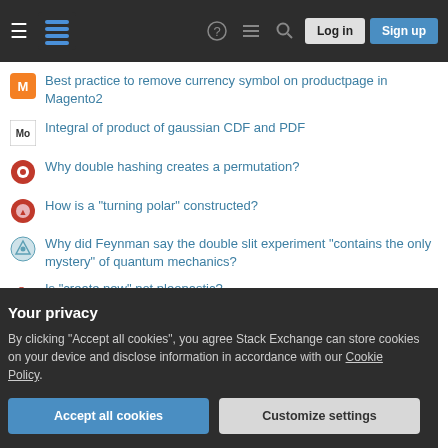Stack Exchange — Log in | Sign up
Best practice to remove currency symbol on productpage in Magento2
Integral of product of gaussian CDF and PDF
Why double hashing creates a permutation?
How is a "turning polar" constructed?
Why did Feynman say the double slit experiment "contains the only mystery" of quantum mechanics?
Is "create new" not pleonastic?
How would the bible reader interpret Proverbs 24:21a use of the term "the king" if the earthly governing leadership was evil?
Meaning of □ after and before certain verbs
Your privacy
By clicking "Accept all cookies", you agree Stack Exchange can store cookies on your device and disclose information in accordance with our Cookie Policy.
Accept all cookies | Customize settings